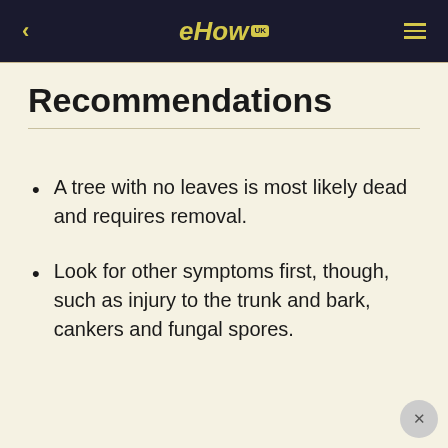eHow UK
Recommendations
A tree with no leaves is most likely dead and requires removal.
Look for other symptoms first, though, such as injury to the trunk and bark, cankers and fungal spores.